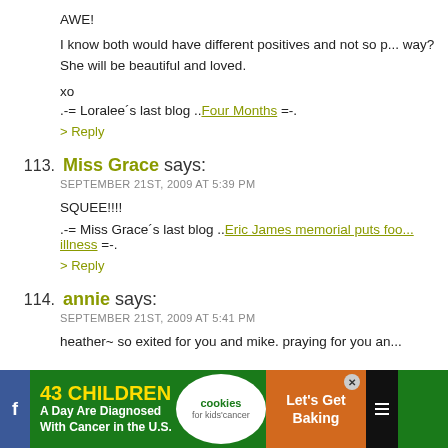AWE!
I know both would have different positives and not so p... way? She will be beautiful and loved.
xo
.-= Loralee's last blog ..Four Months =-.
> Reply
113. Miss Grace says: SEPTEMBER 21ST, 2009 AT 5:39 PM
SQUEE!!!!
.-= Miss Grace's last blog ..Eric James memorial puts foo... illness =-.
> Reply
114. annie says: SEPTEMBER 21ST, 2009 AT 5:41 PM
heather~ so exited for you and mike. praying for you an...
[Figure (other): Advertisement banner: 43 Children A Day Are Diagnosed With Cancer in the U.S. - cookies for kids cancer - Let's Get Baking]